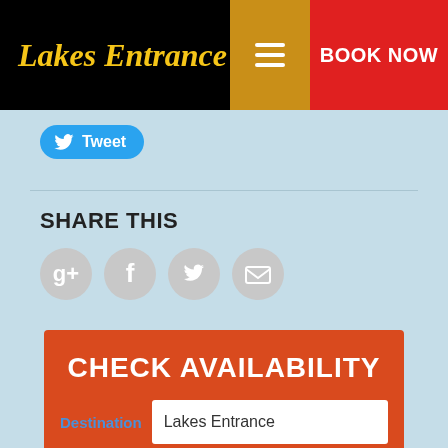Lakes Entrance | BOOK NOW
[Figure (screenshot): Tweet button with Twitter bird icon]
SHARE THIS
[Figure (infographic): Social share icons: Google+, Facebook, Twitter, Email]
CHECK AVAILABILITY
Destination: Lakes Entrance
CHECK-IN DATE